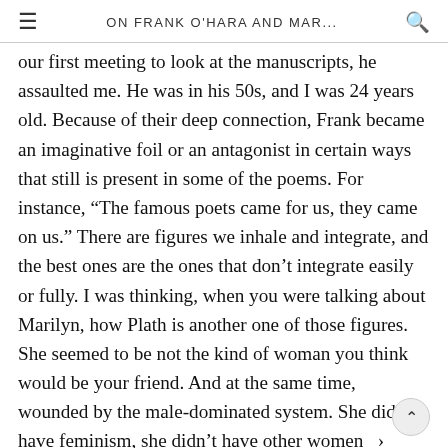ON FRANK O'HARA AND MAR...
our first meeting to look at the manuscripts, he assaulted me. He was in his 50s, and I was 24 years old. Because of their deep connection, Frank became an imaginative foil or an antagonist in certain ways that still is present in some of the poems. For instance, “The famous poets came for us, they came on us.” There are figures we inhale and integrate, and the best ones are the ones that don’t integrate easily or fully. I was thinking, when you were talking about Marilyn, how Plath is another one of those figures. She seemed to be not the kind of woman you think would be your friend. And at the same time, wounded by the male-dominated system. She didn’t have feminism, she didn’t have other women far as I know, to really hold her up, or give her a theory fo.